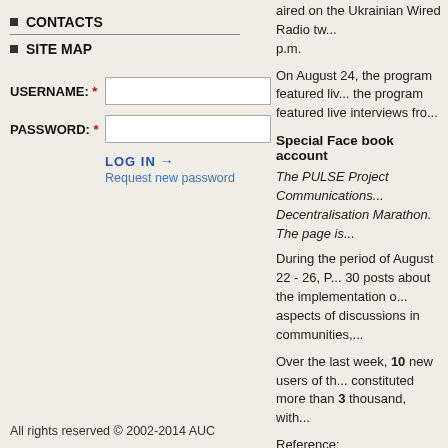CONTACTS
SITE MAP
USERNAME: *  [input]
PASSWORD: *  [input]
LOG IN →
Request new password
aired on the Ukrainian Wired Radio tw... p.m.
On August 24, the program featured live... the program featured live interviews fro...
Special Face book account
The PULSE Project Communications... Decentralisation Marathon. The page is...
During the period of August 22 - 26, P... 30 posts about the implementation o... aspects of discussions in communities,...
Over the last week, 10 new users of th... constituted more than 3 thousand, with...
Reference: https://www.facebook.com/d...
All news
All rights reserved © 2002-2014 AUC